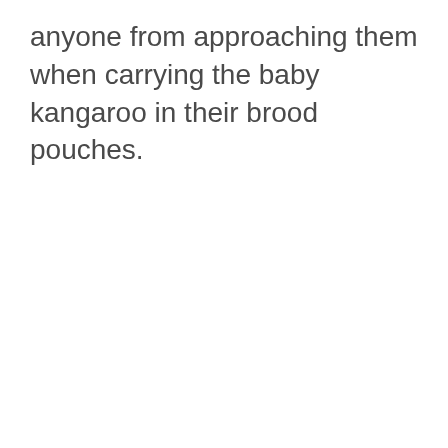anyone from approaching them when carrying the baby kangaroo in their brood pouches.